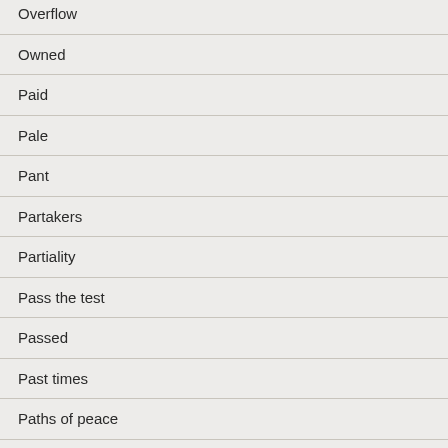Overflow
Owned
Paid
Pale
Pant
Partakers
Partiality
Pass the test
Passed
Past times
Paths of peace
Peace
Peace, peace...